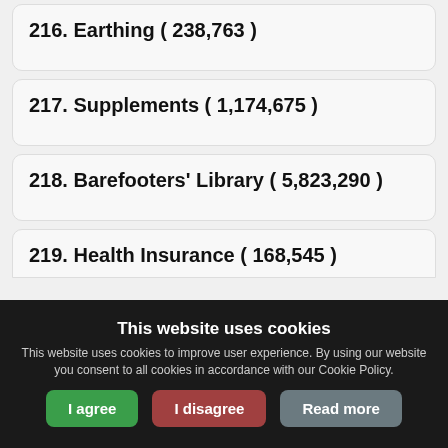216. Earthing ( 238,763 )
217. Supplements ( 1,174,675 )
218. Barefooters' Library ( 5,823,290 )
219. Health Insurance ( 168,545 )
This website uses cookies
This website uses cookies to improve user experience. By using our website you consent to all cookies in accordance with our Cookie Policy.
I agree | I disagree | Read more